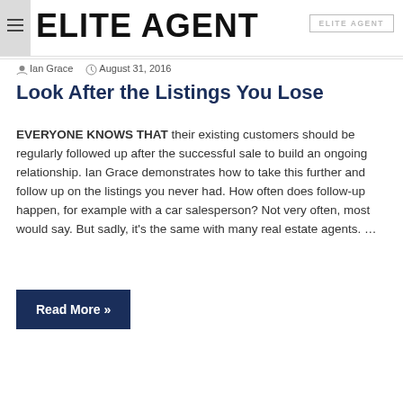ELITE AGENT
Ian Grace  August 31, 2016
Look After the Listings You Lose
EVERYONE KNOWS THAT their existing customers should be regularly followed up after the successful sale to build an ongoing relationship. Ian Grace demonstrates how to take this further and follow up on the listings you never had. How often does follow-up happen, for example with a car salesperson? Not very often, most would say. But sadly, it's the same with many real estate agents. ...
Read More »